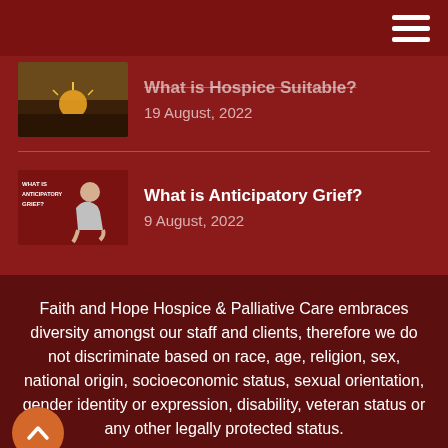Navigation bar with hamburger menu
What is Hospice (cropped)? 19 August, 2022
What is Anticipatory Grief? 9 August, 2022
Faith and Hope Hospice & Palliative Care embraces diversity amongst our staff and clients, therefore we do not discriminate based on race, age, religion, sex, national origin, socioeconomic status, sexual orientation, gender identity or expression, disability, veteran status or any other legally protected status.